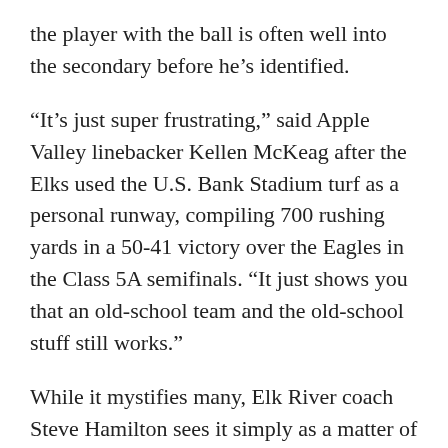the player with the ball is often well into the secondary before he’s identified.
“It’s just super frustrating,” said Apple Valley linebacker Kellen McKeag after the Elks used the U.S. Bank Stadium turf as a personal runway, compiling 700 rushing yards in a 50-41 victory over the Eagles in the Class 5A semifinals. “It just shows you that an old-school team and the old-school stuff still works.”
While it mystifies many, Elk River coach Steve Hamilton sees it simply as a matter of finding something that works and honing it to perfection.
“Part of what makes it so tough is this is all we do,” Hamilton said. “We don’t spend time on formations and shifts or anything else, so we only have 47 off-tackle